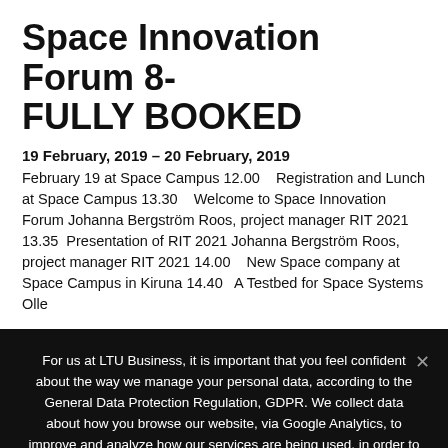Space Innovation Forum 8- FULLY BOOKED
19 February, 2019 – 20 February, 2019
February 19 at Space Campus 12.00    Registration and Lunch at Space Campus 13.30    Welcome to Space Innovation Forum Johanna Bergström Roos, project manager RIT 2021 13.35  Presentation of RIT 2021 Johanna Bergström Roos, project manager RIT 2021 14.00    New Space company at Space Campus in Kiruna 14.40   A Testbed for Space Systems Olle
For us at LTU Business, it is important that you feel confident about the way we manage your personal data, according to the General Data Protection Regulation, GDPR. We collect data about how you browse our website, via Google Analytics, to improve and analyze how our services are being used, in order to create the best possible experience for you.
I agree   No   Read more